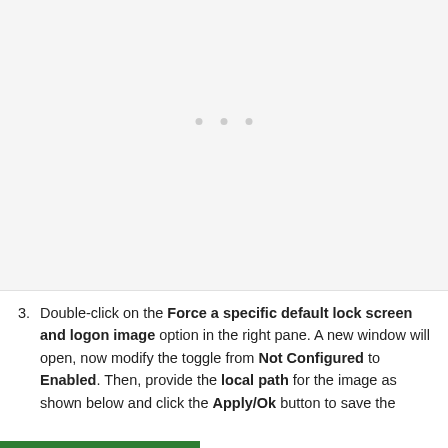[Figure (screenshot): A faded/blank screenshot area representing a Windows Group Policy Editor or similar configuration window, shown mostly as a light gray placeholder with faint dot indicators in the center.]
Double-click on the Force a specific default lock screen and logon image option in the right pane. A new window will open, now modify the toggle from Not Configured to Enabled. Then, provide the local path for the image as shown below and click the Apply/Ok button to save the